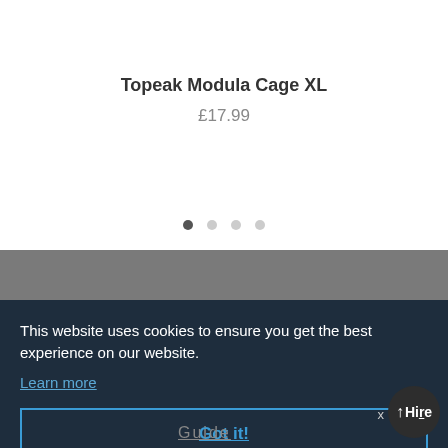Topeak Modula Cage XL
£17.99
[Figure (other): Carousel pagination dots — one active dark dot followed by three lighter inactive dots]
This website uses cookies to ensure you get the best experience on our website.
Learn more
Got it!
ICES
&
Guide